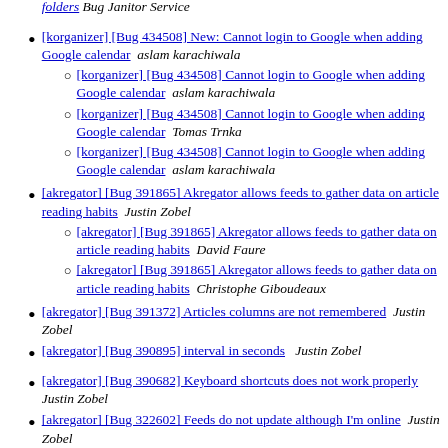[korganizer] [Bug 434508] New: Cannot login to Google when adding Google calendar   aslam karachiwala
[korganizer] [Bug 434508] Cannot login to Google when adding Google calendar   aslam karachiwala
[korganizer] [Bug 434508] Cannot login to Google when adding Google calendar   Tomas Trnka
[korganizer] [Bug 434508] Cannot login to Google when adding Google calendar   aslam karachiwala
[akregator] [Bug 391865] Akregator allows feeds to gather data on article reading habits   Justin Zobel
[akregator] [Bug 391865] Akregator allows feeds to gather data on article reading habits   David Faure
[akregator] [Bug 391865] Akregator allows feeds to gather data on article reading habits   Christophe Giboudeaux
[akregator] [Bug 391372] Articles columns are not remembered   Justin Zobel
[akregator] [Bug 390895] interval in seconds   Justin Zobel
[akregator] [Bug 390682] Keyboard shortcuts does not work properly   Justin Zobel
[akregator] [Bug 322602] Feeds do not update although I'm online   Justin Zobel
[akregator] [Bug 390547] Navigation via mouse does not update content   Justin Zobel
[akregator] [Bug 390547] Navigation via mouse does...